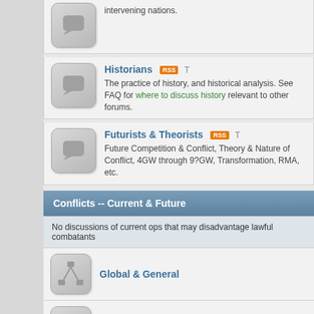intervening nations.
Historians
The practice of history, and historical analysis. See FAQ for where to discuss history relevant to other forums.
Futurists & Theorists
Future Competition & Conflict, Theory & Nature of Conflict, 4GW through 9?GW, Transformation, RMA, etc.
Conflicts -- Current & Future
No discussions of current ops that may disadvantage lawful combatants
Global & General
Operation Iraqi Freedom
Other U.S. GWOT
Other, By Region
See BBC News for good regional news.